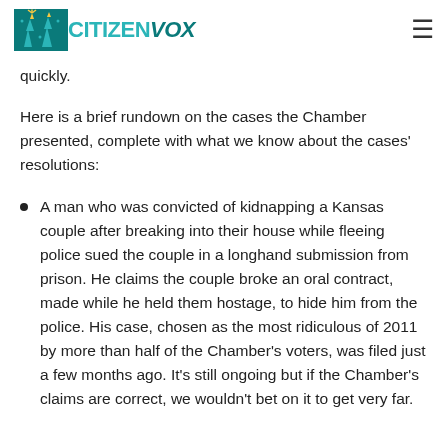CitizenVox
quickly.
Here is a brief rundown on the cases the Chamber presented, complete with what we know about the cases' resolutions:
A man who was convicted of kidnapping a Kansas couple after breaking into their house while fleeing police sued the couple in a longhand submission from prison. He claims the couple broke an oral contract, made while he held them hostage, to hide him from the police. His case, chosen as the most ridiculous of 2011 by more than half of the Chamber's voters, was filed just a few months ago. It's still ongoing but if the Chamber's claims are correct, we wouldn't bet on it to get very far.